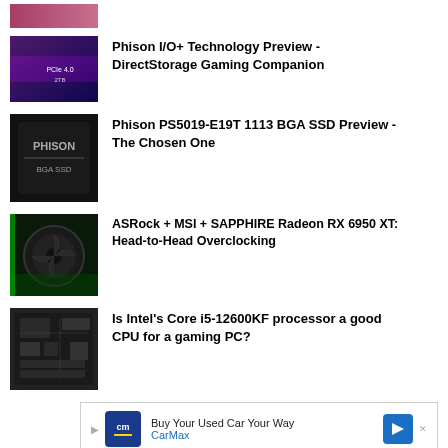[Figure (photo): Partial thumbnail image at top - pink/purple hue]
[Figure (photo): Phison SSD product image - purple/black background with PCIe 4.0 2TB label]
Phison I/O+ Technology Preview - DirectStorage Gaming Companion
[Figure (photo): Phison BGA SSD product image - black background with white text PHISON BGA SSD]
Phison PS5019-E19T 1113 BGA SSD Preview - The Chosen One
[Figure (photo): GPU cooler photo - fan visible with green/teal accents]
ASRock + MSI + SAPPHIRE Radeon RX 6950 XT: Head-to-Head Overclocking
[Figure (photo): Motherboard photo - black and gray circuit board]
Is Intel's Core i5-12600KF processor a good CPU for a gaming PC?
[Figure (photo): CarMax advertisement banner - Buy Your Used Car Your Way]
[Figure (photo): Bottom partial thumbnail - red/dark hue]